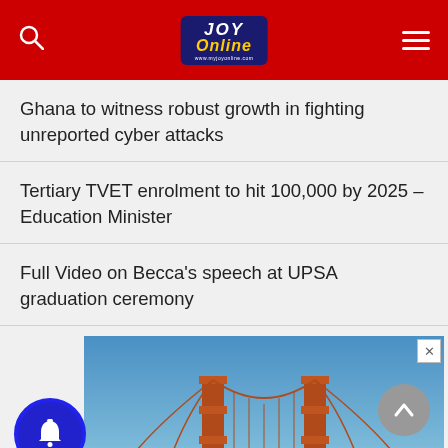JOY Online
Ghana to witness robust growth in fighting unreported cyber attacks
Tertiary TVET enrolment to hit 100,000 by 2025 – Education Minister
Full Video on Becca's speech at UPSA graduation ceremony
[Figure (photo): Advertisement showing a golden gate bridge photo with blue sky and clouds.]